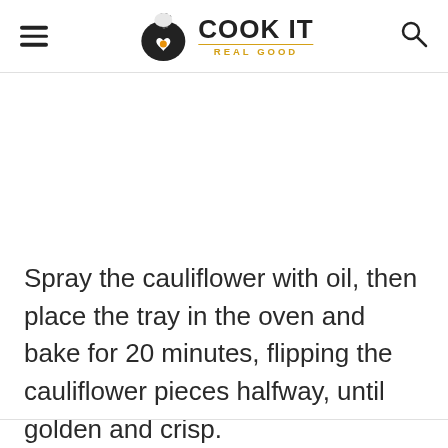COOK IT REAL GOOD
Spray the cauliflower with oil, then place the tray in the oven and bake for 20 minutes, flipping the cauliflower pieces halfway, until golden and crisp.